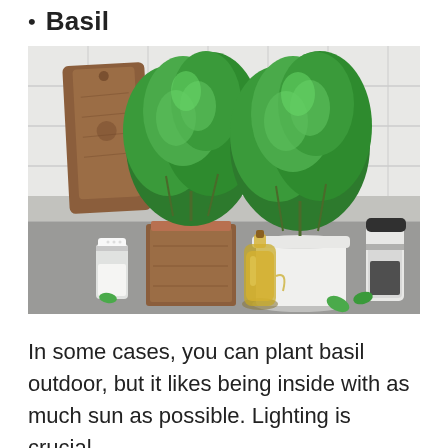Basil
[Figure (photo): Two thriving basil plants in pots on a kitchen counter — one in a rustic wooden box planter and one in a white ceramic pot — surrounded by a salt shaker, a bottle of olive oil, a pepper grinder, and a wooden cutting board leaning against white tile backsplash.]
In some cases, you can plant basil outdoor, but it likes being inside with as much sun as possible. Lighting is crucial